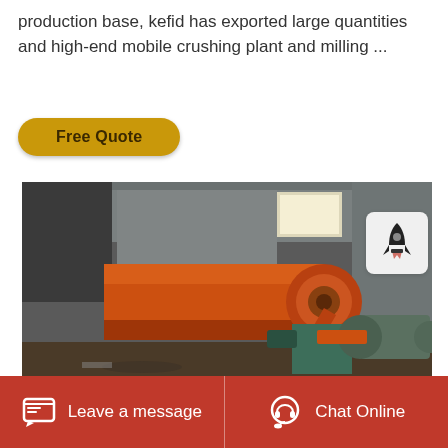production base, kefid has exported large quantities and high-end mobile crushing plant and milling ...
Free Quote
[Figure (photo): Industrial ball mill machine with large orange cylindrical drum and green motor assembly, photographed inside a warehouse/factory building]
Leave a message
Chat Online